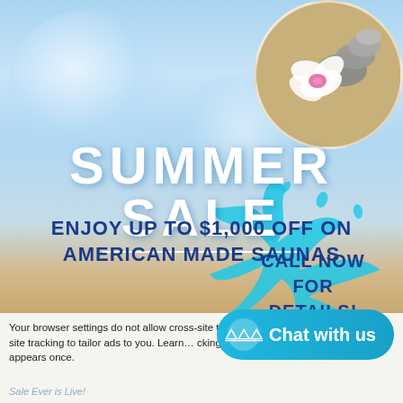[Figure (photo): Summer sale advertisement banner with beach/sand background, bokeh light effects, circular spa stones and flower image in top right, water splash graphic with call-to-action]
SUMMER SALE
ENJOY UP TO $1,000 OFF ON AMERICAN MADE SAUNAS
CALL NOW FOR DETAILS!
Your browser settings do not allow cross-site tracking for this website. Do you allow AdRoll to use cross-site tracking to tailor ads to you. Learn more here, you can opt-out of tracking by clicking here. This message only appears once.
Chat with us